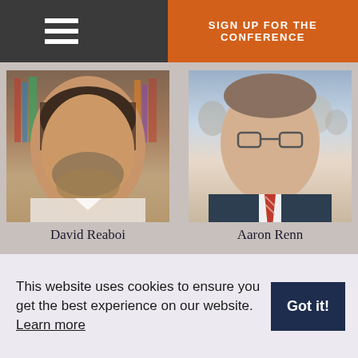SIGN UP FOR THE CONFERENCE
[Figure (photo): Headshot photo of David Reaboi, a man with a beard, in front of bookshelves]
David Reaboi
[Figure (photo): Headshot photo of Aaron Renn, a man in a suit with glasses and red tie, with crowd in background]
Aaron Renn
[Figure (photo): Headshot photo of a man in front of bookshelves]
[Figure (photo): Headshot photo of a smiling man with glasses and blonde hair]
This website uses cookies to ensure you get the best experience on our website. Learn more